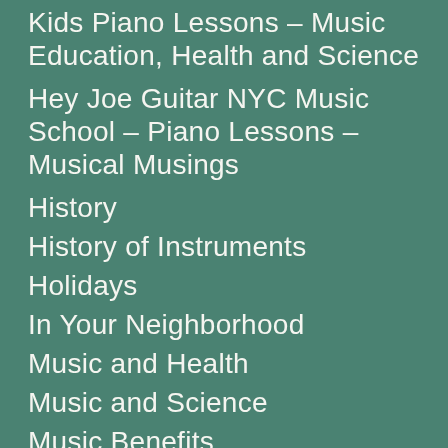Hey Joe Guitar NYC Music School – Kids Piano Lessons – Music Education, Health and Science
Hey Joe Guitar NYC Music School – Piano Lessons – Musical Musings
History
History of Instruments
Holidays
In Your Neighborhood
Music and Health
Music and Science
Music Benefits
Music In History